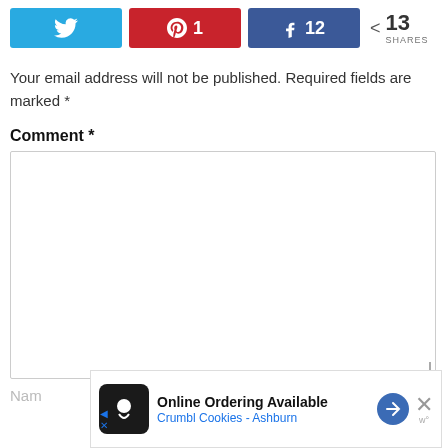[Figure (screenshot): Social share bar with Twitter (blue), Pinterest (red, count 1), Facebook (blue, count 12) buttons, and a share count showing 13 SHARES]
Your email address will not be published. Required fields are marked *
Comment *
[Figure (screenshot): Large empty comment textarea input box]
Nam
[Figure (screenshot): Advertisement banner: Online Ordering Available, Crumbl Cookies - Ashburn]